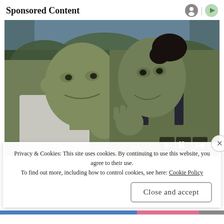Sponsored Content
[Figure (photo): Two green-skinned Marvel characters (Hulk and She-Hulk) facing each other with hands raised in a jungle setting. Media playback controls visible at bottom right.]
Privacy & Cookies: This site uses cookies. By continuing to use this website, you agree to their use.
To find out more, including how to control cookies, see here: Cookie Policy
Close and accept